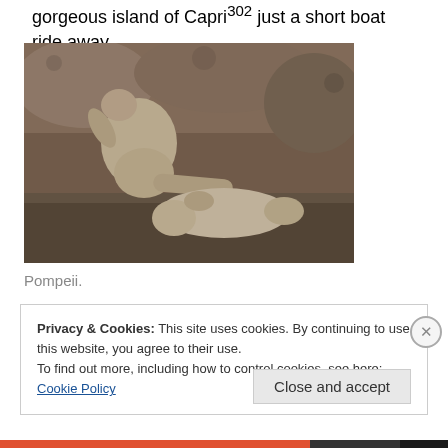gorgeous island of Capri302 just a short boat ride away.
[Figure (photo): Plaster casts of victims from the eruption of Vesuvius at Pompeii, showing two figures preserved in volcanic ash]
Pompeii.
Privacy & Cookies: This site uses cookies. By continuing to use this website, you agree to their use.
To find out more, including how to control cookies, see here: Cookie Policy
Close and accept